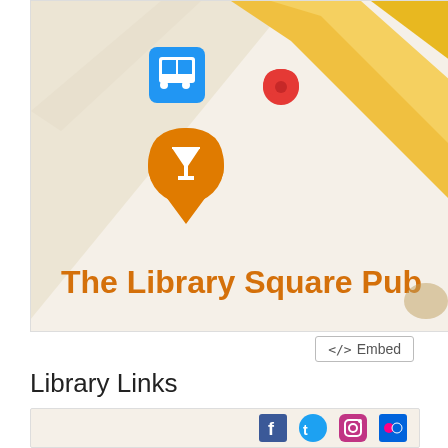[Figure (map): A Google Maps screenshot showing the location of The Library Square Pub. Features a diagonal yellow road band, a blue bus stop icon, a red location pin marker, and an orange venue pin with a cocktail glass icon labeled 'The Library Square Pub'.]
</> Embed
Library Links
[Figure (other): Social media icons bar showing Facebook, Twitter, Instagram, and Flickr icons in blue/teal color]